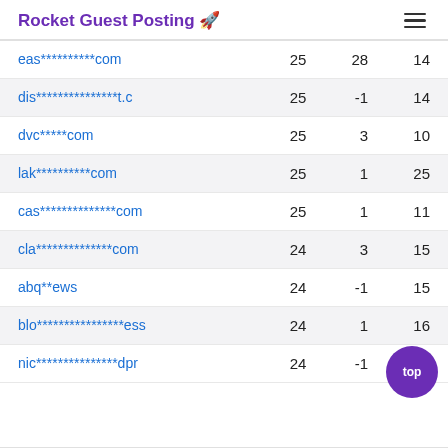Rocket Guest Posting 🚀
| Domain | Col1 | Col2 | Col3 |
| --- | --- | --- | --- |
| eas**********com | 25 | 28 | 14 |
| dis***************t.c | 25 | -1 | 14 |
| dvc*****com | 25 | 3 | 10 |
| lak**********com | 25 | 1 | 25 |
| cas**************com | 25 | 1 | 11 |
| cla**************com | 24 | 3 | 15 |
| abq**ews | 24 | -1 | 15 |
| blo****************ess | 24 | 1 | 16 |
| nic***************dpr | 24 | -1 | 12 |